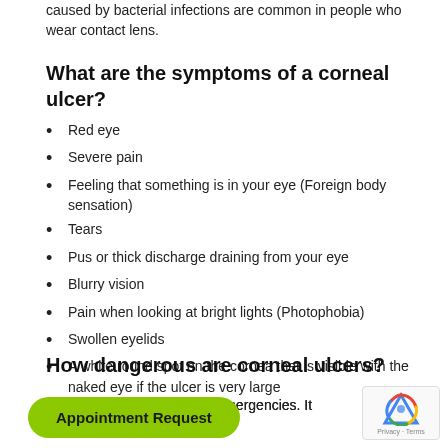caused by bacterial infections are common in people who wear contact lens.
What are the symptoms of a corneal ulcer?
Red eye
Severe pain
Feeling that something is in your eye (Foreign body sensation)
Tears
Pus or thick discharge draining from your eye
Blurry vision
Pain when looking at bright lights (Photophobia)
Swollen eyelids
A white round spot on the cornea that is visible with the naked eye if the ulcer is very large
How dangerous are corneal ulcers?
Corneal ulcers are medical emergencies. It can cause … hours.